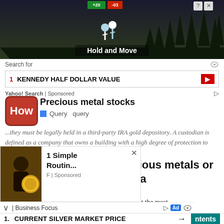[Figure (photo): Advertisement banner at top showing dark nighttime scene with trees and a game/app interface. Shows 'Hold and Move' text. Has close button and help icon.]
Search for
1   KENNEDY HALF DOLLAR VALUE
Yahoo! Search | Sponsored
[Figure (logo): How logo - red rounded rectangle with white 'How' text]
Precious metal stocks
■ Query  query
...they must be legally held in a third-party IRA gold depository. A custodian is defined as a company that owns a building with a high degree of protection to protect the investor's assets.
Should you invest in precious metals or industrial metals in canada
There is no doubt that gold and precious metals get the most ... to metals. This applies to the average ... the street as well as to the average ... to gold exchange-traded funds (ETFs) ... Fs as relatively safe investments when market v...
[Figure (photo): Small overlay advertisement showing a coin (gold coin) image with text '1 Simple Routin...' and 'F | Sponsored']
| Business Focus
1.   CURRENT SILVER MARKET PRICE